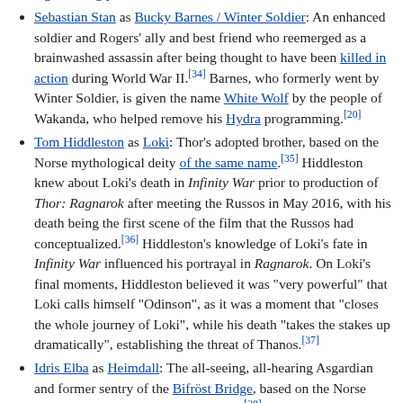designed wing pack.[33]
Sebastian Stan as Bucky Barnes / Winter Soldier: An enhanced soldier and Rogers' ally and best friend who reemerged as a brainwashed assassin after being thought to have been killed in action during World War II.[34] Barnes, who formerly went by Winter Soldier, is given the name White Wolf by the people of Wakanda, who helped remove his Hydra programming.[20]
Tom Hiddleston as Loki: Thor's adopted brother, based on the Norse mythological deity of the same name.[35] Hiddleston knew about Loki's death in Infinity War prior to production of Thor: Ragnarok after meeting the Russos in May 2016, with his death being the first scene of the film that the Russos had conceptualized.[36] Hiddleston's knowledge of Loki's fate in Infinity War influenced his portrayal in Ragnarok. On Loki's final moments, Hiddleston believed it was "very powerful" that Loki calls himself "Odinson", as it was a moment that "closes the whole journey of Loki", while his death "takes the stakes up dramatically", establishing the threat of Thanos.[37]
Idris Elba as Heimdall: The all-seeing, all-hearing Asgardian and former sentry of the Bifröst Bridge, based on the Norse mythological deity of the same name.[38]